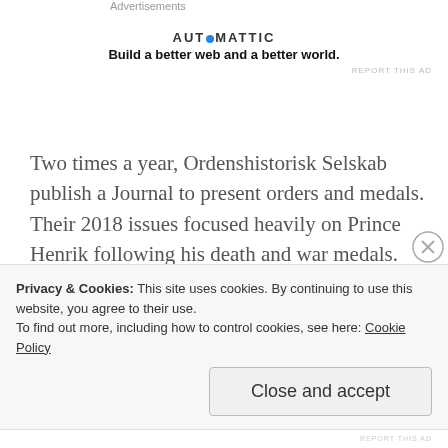Advertisements
[Figure (logo): Automattic logo with tagline: Build a better web and a better world.]
Two times a year, Ordenshistorisk Selskab publish a Journal to present orders and medals. Their 2018 issues focused heavily on Prince Henrik following his death and war medals. They also published books over the year. I have reached out to the organization for a statement about the announcement. I will update the post if they release one.
Privacy & Cookies: This site uses cookies. By continuing to use this website, you agree to their use. To find out more, including how to control cookies, see here: Cookie Policy
Close and accept